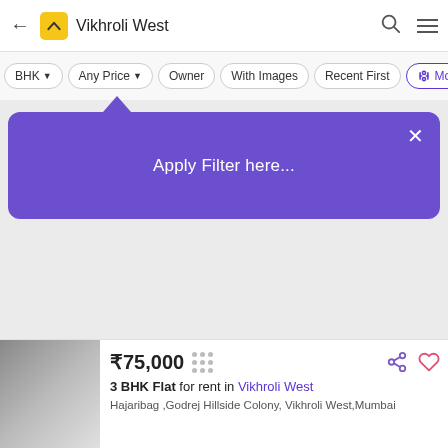← [logo] Vikhroli West [search] [menu]
BHK ▾
Any Price ▾
Owner
With Images
Recent First
⧉ Mo
[Figure (screenshot): Purple tooltip/popover with text 'Apply Filter here...' and a close X button, with a triangular arrow pointing upward toward the filter bar]
₹75,000
3 BHK Flat for rent in Vikhroli West
Hajaribag ,Godrej Hillside Colony, Vikhroli West,Mumbai